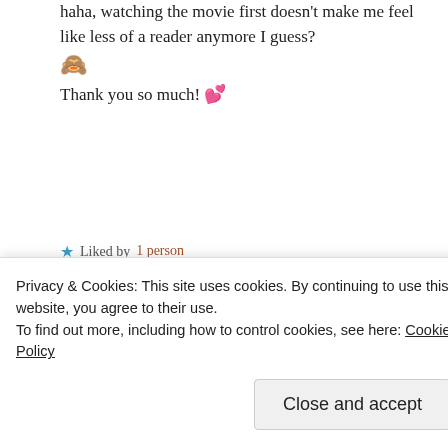haha, watching the movie first doesn't make me feel like less of a reader anymore I guess? 🙈
Thank you so much! 💕
★ Liked by 1 person
REPLY ↩
Advertisements
[Figure (screenshot): Day One journaling app advertisement banner with blue background]
Privacy & Cookies: This site uses cookies. By continuing to use this website, you agree to their use.
To find out more, including how to control cookies, see here: Cookie Policy
Close and accept